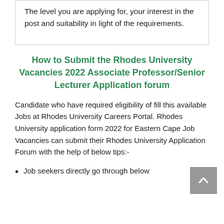The level you are applying for, your interest in the post and suitability in light of the requirements.
How to Submit the Rhodes University Vacancies 2022 Associate Professor/Senior Lecturer Application forum
Candidate who have required eligibility of fill this available Jobs at Rhodes University Careers Portal. Rhodes University application form 2022 for Eastern Cape Job Vacancies can submit their Rhodes University Application Forum with the help of below tips:-
Job seekers directly go through below